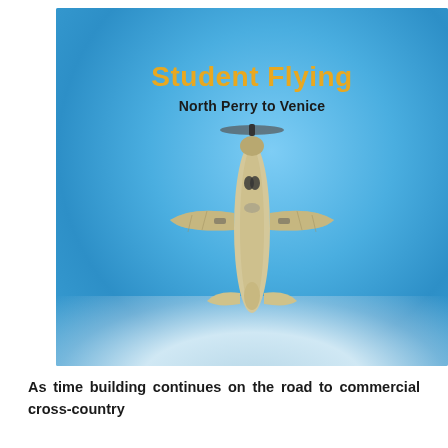[Figure (photo): Book cover with blue sky background and aerial view of a small single-engine propeller airplane (cream/tan colored) viewed from below, with text 'Student Flying' in bold gold/yellow and 'North Perry to Venice' in black below it.]
Student Flying
North Perry to Venice
As time building continues on the road to commercial cross-country